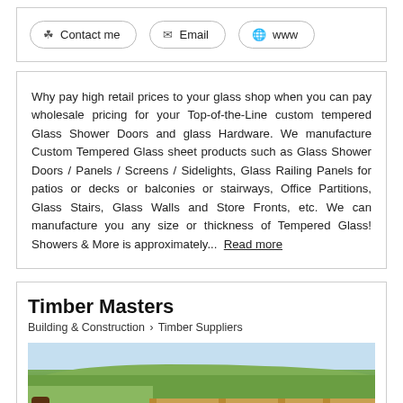Contact me | Email | www (buttons)
Why pay high retail prices to your glass shop when you can pay wholesale pricing for your Top-of-the-Line custom tempered Glass Shower Doors and glass Hardware. We manufacture Custom Tempered Glass sheet products such as Glass Shower Doors / Panels / Screens / Sidelights, Glass Railing Panels for patios or decks or balconies or stairways, Office Partitions, Glass Stairs, Glass Walls and Store Fronts, etc. We can manufacture you any size or thickness of Tempered Glass! Showers & More is approximately... Read more
Timber Masters
Building & Construction > Timber Suppliers
[Figure (photo): Panoramic landscape photo showing green rolling hills and valleys with a wooden deck railing in the foreground and clear blue sky above.]